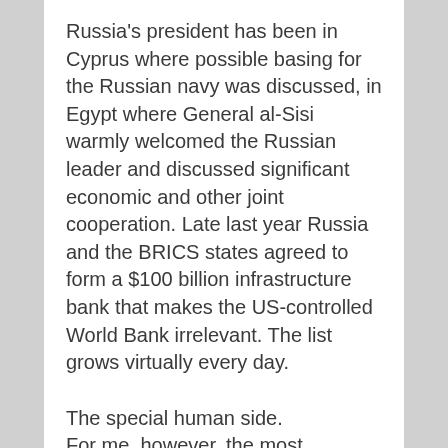Russia's president has been in Cyprus where possible basing for the Russian navy was discussed, in Egypt where General al-Sisi warmly welcomed the Russian leader and discussed significant economic and other joint cooperation. Late last year Russia and the BRICS states agreed to form a $100 billion infrastructure bank that makes the US-controlled World Bank irrelevant. The list grows virtually every day.
The special human side. For me, however, the most heartening feature of this Russian renaissance is in the generation which is today in their late thirties to early forties—young, highly intelligent and having experience of both